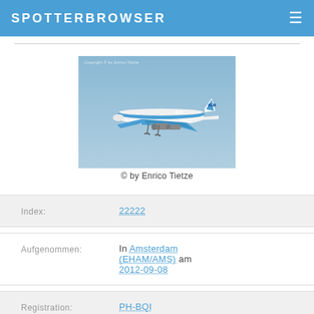SPOTTERBROWSER
[Figure (photo): KLM Boeing 777 aircraft in flight with blue sky background. Copyright notice: Copyright © by Enrico Tietze]
© by Enrico Tietze
| Index: | 22222 |
| Aufgenommen: | In Amsterdam (EHAM/AMS) am 2012-09-08 |
| Registration: | PH-BQI |